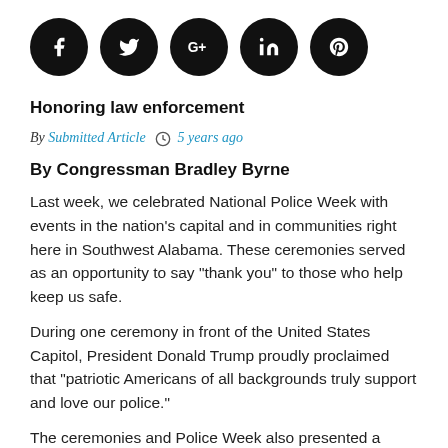[Figure (infographic): Five social media share buttons as black circles with white icons: Facebook (f), Twitter (bird), Google+ (G+), LinkedIn (in), Pinterest (p)]
Honoring law enforcement
By Submitted Article   5 years ago
By Congressman Bradley Byrne
Last week, we celebrated National Police Week with events in the nation's capital and in communities right here in Southwest Alabama. These ceremonies served as an opportunity to say "thank you" to those who help keep us safe.
During one ceremony in front of the United States Capitol, President Donald Trump proudly proclaimed that "patriotic Americans of all backgrounds truly support and love our police."
The ceremonies and Police Week also presented a solemn opportunity to honor those who have lost their